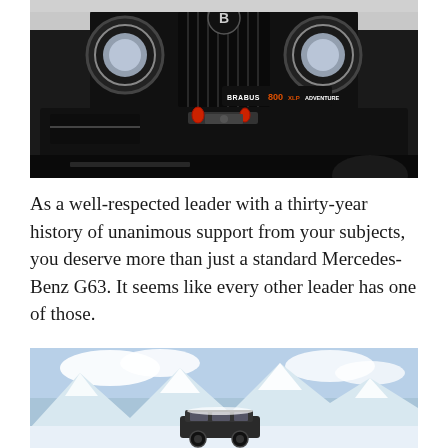[Figure (photo): Close-up front view of a Brabus 800 XLP Adventure vehicle, showing the grille with a large B logo, round headlights, black front bumper with red tow hooks and a winch, carbon fiber accents, on a snowy/white background.]
As a well-respected leader with a thirty-year history of unanimous support from your subjects, you deserve more than just a standard Mercedes-Benz G63. It seems like every other leader has one of those.
[Figure (photo): Snow-covered mountain peaks under a blue sky with white clouds, with a dark-colored Brabus G-class SUV visible at the bottom of the image in a snowy alpine landscape.]